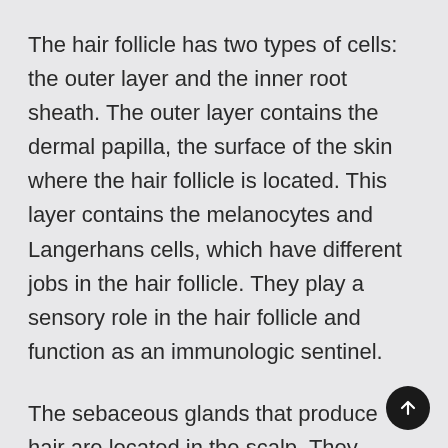The hair follicle has two types of cells: the outer layer and the inner root sheath. The outer layer contains the dermal papilla, the surface of the skin where the hair follicle is located. This layer contains the melanocytes and Langerhans cells, which have different jobs in the hair follicle. They play a sensory role in the hair follicle and function as an immunologic sentinel.
The sebaceous glands that produce hair are located in the scalp. They produce oil that makes hair waterproof and shiny. During puberty, the sebaceous glands can produce too much oil and